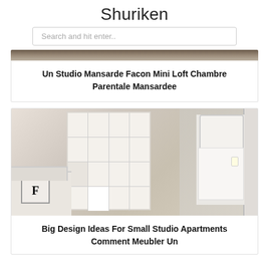Shuriken
Search and hit enter..
[Figure (photo): Partial top of a photo, cut off at top of page]
Un Studio Mansarde Facon Mini Loft Chambre Parentale Mansardee
[Figure (photo): Interior room photo showing a white shelving unit acting as a room divider between a living area with a white sofa and a bedroom with a bed and patterned wallpaper]
Big Design Ideas For Small Studio Apartments Comment Meubler Un